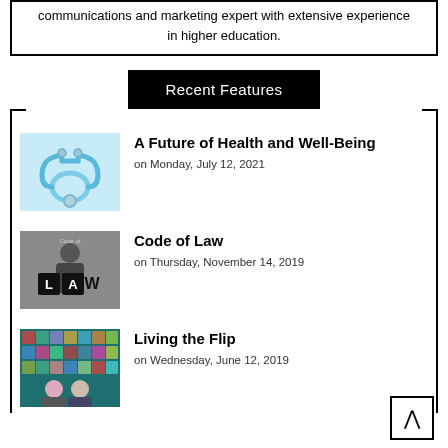communications and marketing expert with extensive experience in higher education.
Recent Features
A Future of Health and Well-Being
on Monday, July 12, 2021
[Figure (photo): Stethoscope on light blue background]
Code of Law
on Thursday, November 14, 2019
[Figure (photo): Person holding letters spelling LAW with Code of Law text above]
Living the Flip
on Wednesday, June 12, 2019
[Figure (photo): Two people and colorful grid of photos on teal wall background]